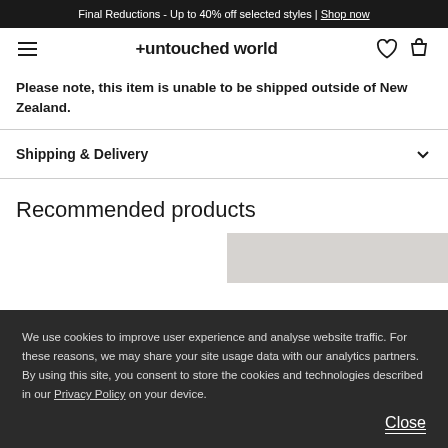Final Reductions - Up to 40% off selected styles | Shop now
+ untouched world
Please note, this item is unable to be shipped outside of New Zealand.
Shipping & Delivery
Recommended products
We use cookies to improve user experience and analyse website traffic. For these reasons, we may share your site usage data with our analytics partners. By using this site, you consent to store the cookies and technologies described in our Privacy Policy on your device.
Close